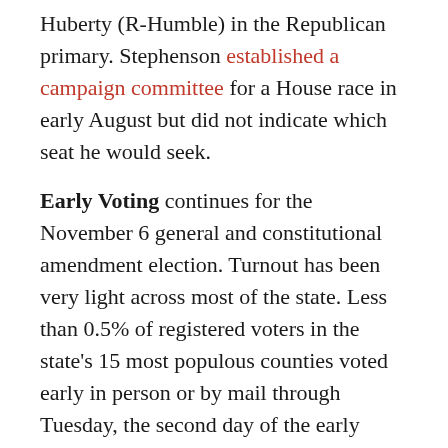Huberty (R-Humble) in the Republican primary. Stephenson established a campaign committee for a House race in early August but did not indicate which seat he would seek.
Early Voting continues for the November 6 general and constitutional amendment election. Turnout has been very light across most of the state. Less than 0.5% of registered voters in the state's 15 most populous counties voted early in person or by mail through Tuesday, the second day of the early voting period. This is slightly more than half the turnout from the first two days of the 2015 general election.
Voter ID: Oral arguments before a three-judge panel of the Fifth U.S. Circuit Court of Appeals will be December 5. Plaintiffs had hoped to expedite the process by taking the case straight to the full Fifth